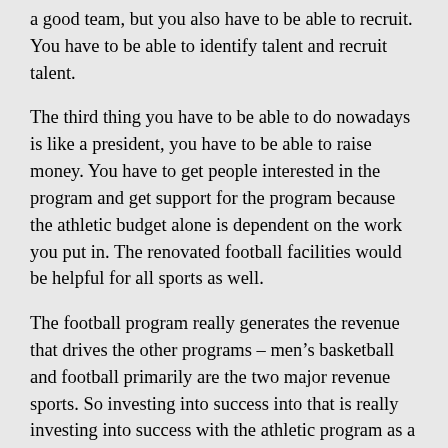a good team, but you also have to be able to recruit. You have to be able to identify talent and recruit talent.
The third thing you have to be able to do nowadays is like a president, you have to be able to raise money. You have to get people interested in the program and get support for the program because the athletic budget alone is dependent on the work you put in. The renovated football facilities would be helpful for all sports as well.
The football program really generates the revenue that drives the other programs – men's basketball and football primarily are the two major revenue sports. So investing into success into that is really investing into success with the athletic program as a whole. I think that's how we look at it.